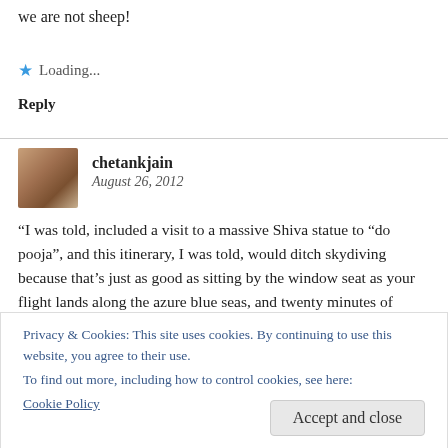we are not sheep!
Loading...
Reply
chetankjain
August 26, 2012
“I was told, included a visit to a massive Shiva statue to “do pooja”, and this itinerary, I was told, would ditch skydiving because that’s just as good as sitting by the window seat as your flight lands along the azure blue seas, and twenty minutes of floating in mid air are not worth the money.”
Privacy & Cookies: This site uses cookies. By continuing to use this website, you agree to their use.
To find out more, including how to control cookies, see here:
Cookie Policy
Accept and close